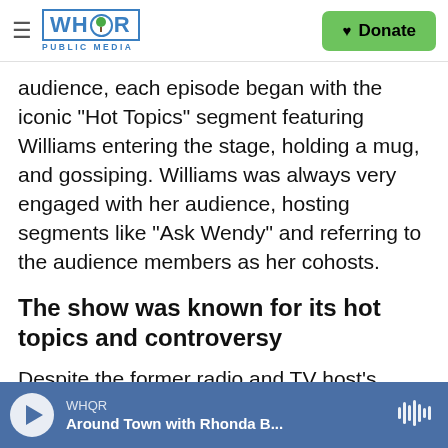WHOR PUBLIC MEDIA | Donate
audience, each episode began with the iconic "Hot Topics" segment featuring Williams entering the stage, holding a mug, and gossiping. Williams was always very engaged with her audience, hosting segments like "Ask Wendy" and referring to the audience members as her cohosts.
The show was known for its hot topics and controversy
Despite the former radio and TV host's success on the air over the past 14 years — nominated for 11 Daytime Emmys and four People's Choice Awards
WHOR | Around Town with Rhonda B...